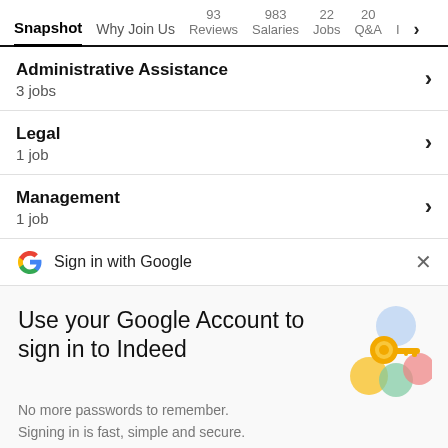Snapshot  Why Join Us  93 Reviews  983 Salaries  22 Jobs  20 Q&A  I >
Administrative Assistance
3 jobs
Legal
1 job
Management
1 job
Sign in with Google
Use your Google Account to sign in to Indeed
No more passwords to remember.
Signing in is fast, simple and secure.
[Figure (illustration): Colorful Google sign-in illustration with a golden key and overlapping colored circles]
Continue